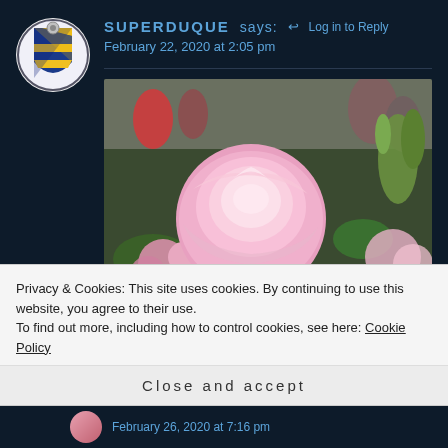SUPERDUQUE says:  ↩ Log in to Reply
February 22, 2020 at 2:05 pm
[Figure (photo): A close-up photo of pink roses in bloom with green buds and a blurred crowd in the background]
★ Like
Privacy & Cookies: This site uses cookies. By continuing to use this website, you agree to their use.
To find out more, including how to control cookies, see here: Cookie Policy
Close and accept
February 26, 2020 at 7:16 pm